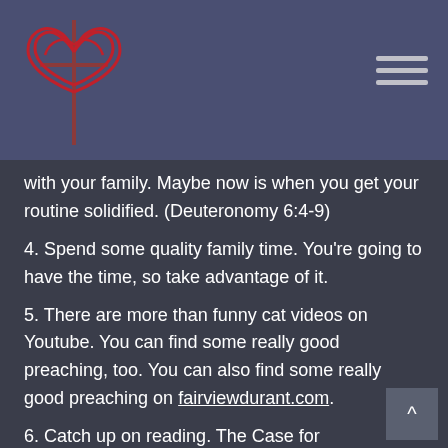[Figure (logo): Church logo with cross and heart/shield design in red on purple/dark background]
with your family. Maybe now is when you get your routine solidified. (Deuteronomy 6:4-9)
4. Spend some quality family time. You're going to have the time, so take advantage of it.
5. There are more than funny cat videos on Youtube. You can find some really good preaching, too. You can also find some really good preaching on fairviewdurant.com.
6. Catch up on reading. The Case for